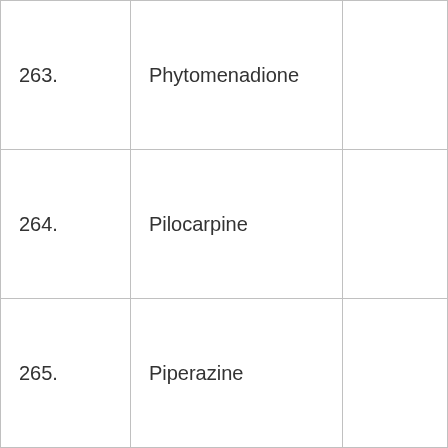| 263. | Phytomenadione |  |
| 264. | Pilocarpine |  |
| 265. | Piperazine |  |